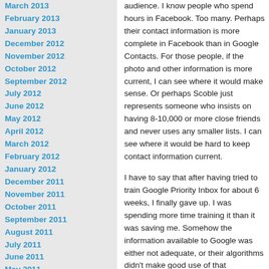March 2013
February 2013
January 2013
December 2012
November 2012
October 2012
September 2012
July 2012
June 2012
May 2012
April 2012
March 2012
February 2012
January 2012
December 2011
November 2011
October 2011
September 2011
August 2011
July 2011
June 2011
May 2011
April 2011
March 2011
February 2011
January 2011
December 2010
November 2010
October 2010
September 2010
August 2010
July 2010
June 2010
May 2010
April 2010
March 2010
February 2010
January 2010
audience.  I know people who spend hours in Facebook. Too many.  Perhaps their contact information is more complete in Facebook than in Google Contacts.  For those people, if the photo and other information is more current, I can see where it would make sense.  Or perhaps Scoble just represents someone who insists on having 8-10,000 or more close friends and never uses any smaller lists.  I can see where it would be hard to keep contact information current.
I have to say that after having tried to train Google Priority Inbox for about 6 weeks, I finally gave up.  I was spending more time training it than it was saving me.  Somehow the information available to Google was either not adequate, or their algorithms didn't make good use of that information.  The lesson is we shouldn't take the logical-sounding promise of vast improvement in the relevancy of our inboxes based on Social Graph manipulations as a forgone conclusion.  Extracting meaning and semantics from data is a hard problem that will challenge us for some time to come.
However, if you are going to buy into the "Social Graph Adds Value to Your Messaging" camp, you need to pick the platform that fits your life.  Is there really one?  Don't some people use Facebook mostly for friends and family, LinkedIn for business contacts, and somebody else for some other thing?  Food for thought!
Okay, those are the reasons why Facebook h...